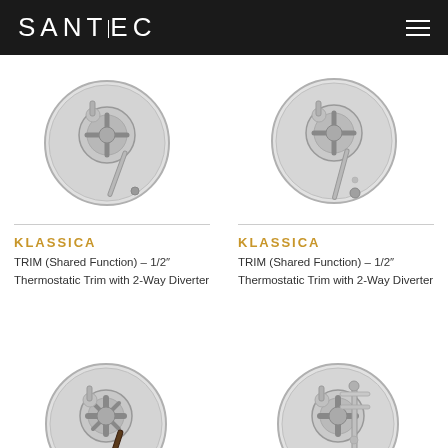SANTEC
[Figure (photo): Chrome thermostatic trim valve with 2-way diverter, round plate, classic lever handle - left column top]
[Figure (photo): Chrome thermostatic trim valve with 2-way diverter, round plate, classic lever handle - right column top]
KLASSICA
TRIM (Shared Function) – 1/2" Thermostatic Trim with 2-Way Diverter
KLASSICA
TRIM (Shared Function) – 1/2" Thermostatic Trim with 2-Way Diverter
[Figure (photo): Chrome thermostatic trim valve with decorative handles, round plate, dark lever handle - left column bottom]
[Figure (photo): Chrome thermostatic trim valve with metal lever handles, round plate - right column bottom]